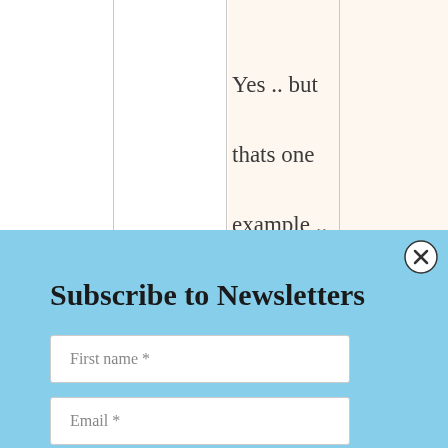Yes .. but thats one example .. the economy of India and US/Japan ...
Subscribe to Newsletters
First name *
Email *